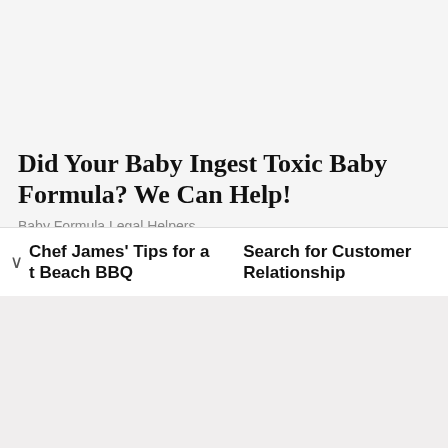Did Your Baby Ingest Toxic Baby Formula? We Can Help!
Baby Formula Legal Helpers
[Figure (photo): Man in dark suit holding a glowing digital tablet or transparent display device, with a tech/server room background in blue tones]
Chef James' Tips for a t Beach BBQ
Search for Customer Relationship